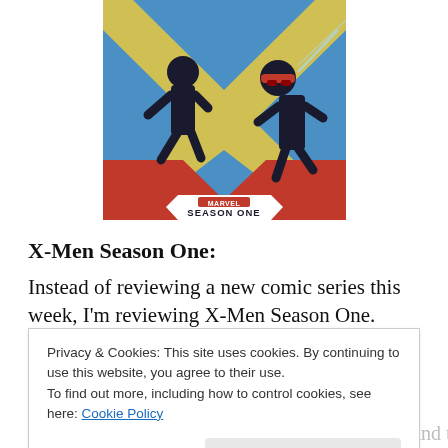[Figure (illustration): Marvel Season One comic book cover showing two characters in black costumes against a blue and red geometric background, with 'MARVEL SEASON ONE' badge at bottom]
X-Men Season One:
Instead of reviewing a new comic series this week, I'm reviewing X-Men Season One. Marvel's Season 1 is a series of hardcover origin retellings. The first Season One
Privacy & Cookies: This site uses cookies. By continuing to use this website, you agree to their use.
To find out more, including how to control cookies, see here: Cookie Policy
satisfactory. So how does X-Men Season One stand up?